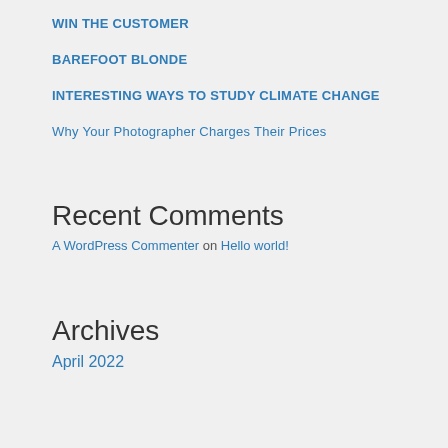WIN THE CUSTOMER
BAREFOOT BLONDE
INTERESTING WAYS TO STUDY CLIMATE CHANGE
Why Your Photographer Charges Their Prices
Recent Comments
A WordPress Commenter on Hello world!
Archives
April 2022